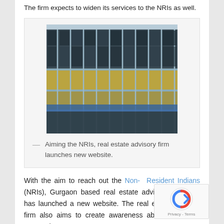The firm expects to widen its services to the NRIs as well.
[Figure (photo): Exterior photo of a modern glass-facade commercial building shot from below at an angle, showing reflective glass panels and metal structural grid.]
— Aiming the NRIs, real estate advisory firm launches new website.
With the aim to reach out the Non- Resident Indians (NRIs), Gurgaon based real estate advisory company has launched a new website. The real estate advisory firm also aims to create awareness about the brand among them.
Maxxed Realtor believes that they will be able to widen their services to the NRIs by using the online systems...